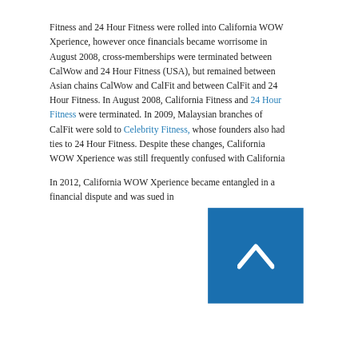Fitness and 24 Hour Fitness were rolled into California WOW Xperience, however once financials became worrisome in August 2008, cross-memberships were terminated between CalWow and 24 Hour Fitness (USA), but remained between Asian chains CalWow and CalFit and between CalFit and 24 Hour Fitness. In August 2008, California Fitness and 24 Hour Fitness were terminated. In 2009, Malaysian branches of CalFit were sold to Celebrity Fitness, whose founders also had ties to 24 Hour Fitness. Despite these changes, California WOW Xperience was still frequently confused with California
[Figure (other): Blue square box with white upward chevron/arrow icon overlaying bottom-right portion of text]
In 2012, California WOW Xperience became entangled in a financial dispute and was sued in